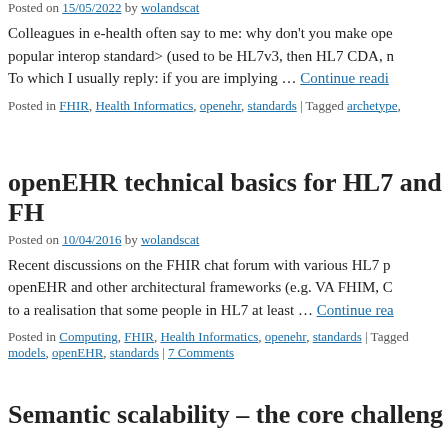Posted on 15/05/2022 by wolandscat
Colleagues in e-health often say to me: why don't you make ope popular interop standard> (used to be HL7v3, then HL7 CDA, n To which I usually reply: if you are implying … Continue reading
Posted in FHIR, Health Informatics, openehr, standards | Tagged archetype,
openEHR technical basics for HL7 and FH
Posted on 10/04/2016 by wolandscat
Recent discussions on the FHIR chat forum with various HL7 p openEHR and other architectural frameworks (e.g. VA FHIM, C to a realisation that some people in HL7 at least … Continue rea
Posted in Computing, FHIR, Health Informatics, openehr, standards | Tagged models, openEHR, standards | 7 Comments
Semantic scalability – the core challeng